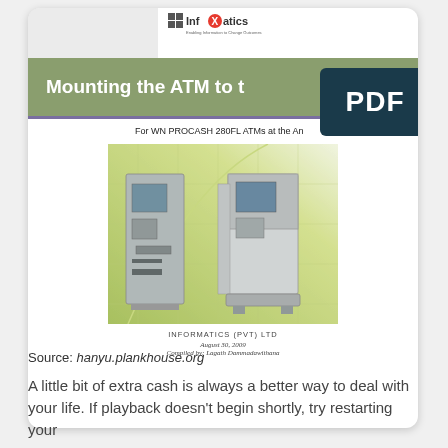[Figure (screenshot): PDF thumbnail of a document titled 'Mounting the ATM to t...' for WN PROCASH 280FL ATMs, with green banner header, ATM machine photo, Informatics (PVT) LTD logo, and PDF badge overlay. Compiled by Lagath Dammadawithana, August 30, 2009.]
Source: hanyu.plankhouse.org
A little bit of extra cash is always a better way to deal with your life. If playback doesn't begin shortly, try restarting your